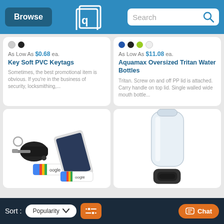Browse | QLC | Search
As Low As $0.68 ea.
Key Soft PVC Keytags
Sometimes, the best promotional item is obvious. If you're in the business of security, locksmithing,...
As Low As $11.08 ea.
Aquamax Oversized Tritan Water Bottles
Tritan. Screw on and off PP lid is attached. Carry handle on top lid. Single walled wide mouth bottle...
[Figure (photo): Key soft PVC keytags with phone stand and Google-branded keychains on white background]
[Figure (photo): Clear Tritan water bottle with black carry handle lid on white background]
Sort: Popularity | Filter | Chat